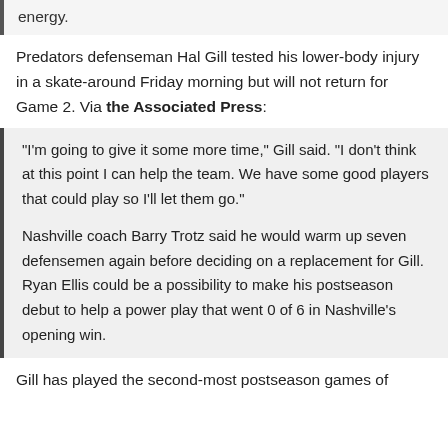energy.
Predators defenseman Hal Gill tested his lower-body injury in a skate-around Friday morning but will not return for Game 2. Via the Associated Press:
"I'm going to give it some more time," Gill said. "I don't think at this point I can help the team. We have some good players that could play so I'll let them go."
Nashville coach Barry Trotz said he would warm up seven defensemen again before deciding on a replacement for Gill. Ryan Ellis could be a possibility to make his postseason debut to help a power play that went 0 of 6 in Nashville's opening win.
Gill has played the second-most postseason games of